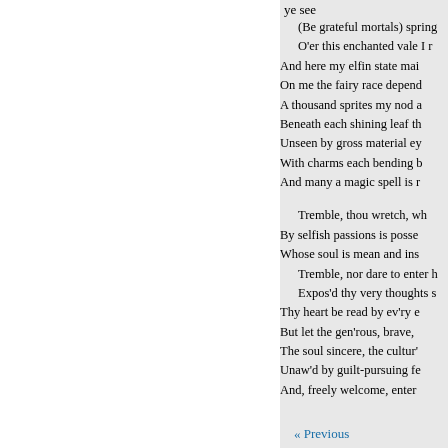ye see
(Be grateful mortals) spring
O'er this enchanted vale I r
And here my elfin state mai
On me the fairy race depend
A thousand sprites my nod a
Beneath each shining leaf th
Unseen by gross material ey
With charms each bending b
And many a magic spell is r
Tremble, thou wretch, wh
By selfish passions is posse
Whose soul is mean and ins
Tremble, nor dare to enter h
Expos'd thy very thoughts s
Thy heart be read by ev'ry e
But let the gen'rous, brave,
The soul sincere, the cultur'
Unaw'd by guilt-pursuing fe
And, freely welcome, enter
« Previous